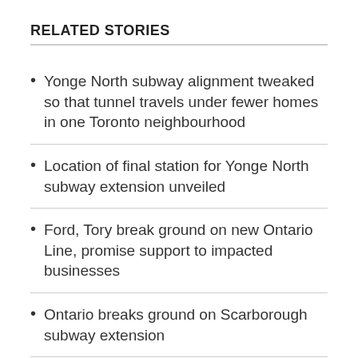RELATED STORIES
Yonge North subway alignment tweaked so that tunnel travels under fewer homes in one Toronto neighbourhood
Location of final station for Yonge North subway extension unveiled
Ford, Tory break ground on new Ontario Line, promise support to impacted businesses
Ontario breaks ground on Scarborough subway extension
But some members of the community have raised concerns that the developments will bring too much density to Richmond Hill